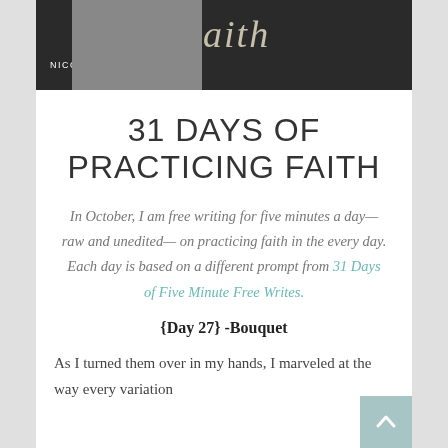[Figure (photo): Top banner with dark background showing the word 'Faith' in script lettering and 'NICOLETWALTERS.COM' text, with a partial photo on the left side]
31 DAYS OF PRACTICING FAITH
In October, I am free writing for five minutes a day—raw and unedited—on practicing faith in the every day. Each day is based on a different prompt from 31 Days of Five Minute Free Writes.
{Day 27} -Bouquet
As I turned them over in my hands, I marveled at the way every variation